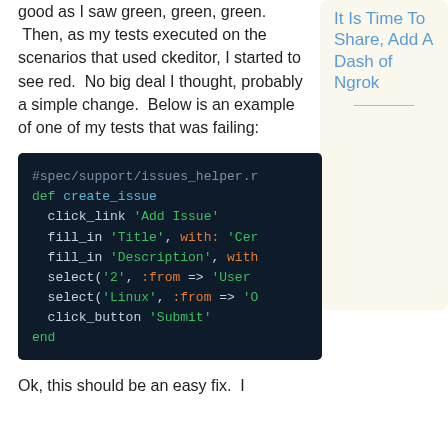good as I saw green, green, green. Then, as my tests executed on the scenarios that used ckeditor, I started to see red. No big deal I thought, probably a simple change. Below is an example of one of my tests that was failing:
[Figure (screenshot): Dark-themed code block showing Ruby test helper code for creating an issue with click_link, fill_in, select, and click_button calls]
It Is Time To Share, Add A Dash of Ngrok
Ok, this should be an easy fix. I